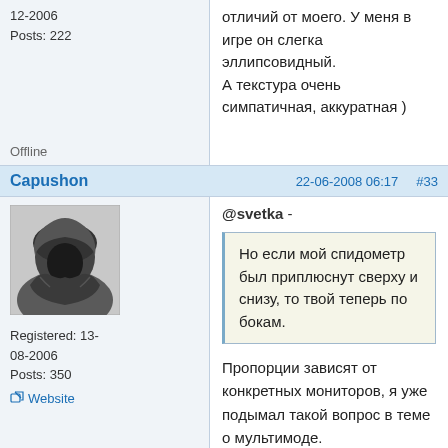12-2006
Posts: 222
отличий от моего. У меня в игре он слегка эллипсовидный.
А текстура очень симпатичная, аккуратная )
Offline
Capushon   22-06-2008 06:17   #33
[Figure (photo): Avatar of user Capushon - hooded figure in dark cloak]
Registered: 13-08-2006
Posts: 350
Website
@svetka -
Но если мой спидометр был приплюснут сверху и снизу, то твой теперь по бокам.
Пропорции зависят от конкретных мониторов, я уже подымал такой вопрос в теме о мультимоде.